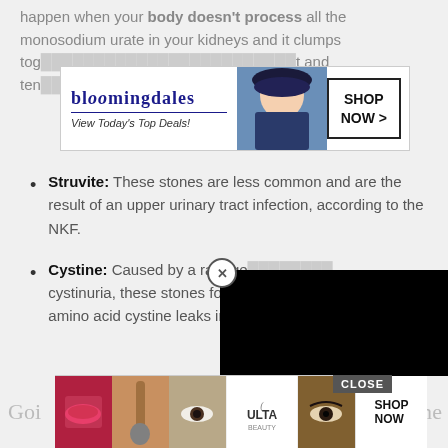happen when your body doesn't process all the monosodium urate in your kidneys and it clumps together. The urate crystals accumulate in joint and ten...
[Figure (screenshot): Bloomingdale's advertisement banner: logo, 'View Today's Top Deals!' tagline, fashion model photo, SHOP NOW button]
Struvite: These stones are less common and are the result of an upper urinary tract infection, according to the NKF.
Cystine: Caused by a rare ge... cystinuria, these stones form... amino acid cystine leaks into...
[Figure (screenshot): Black video/ad overlay box with close (X) button]
Don't Miss:
How Long For Flomax To Work For Kidney Stones
[Figure (screenshot): ULTA beauty advertisement banner at bottom with makeup images, SHOP NOW button, and CLOSE button]
Goi... me